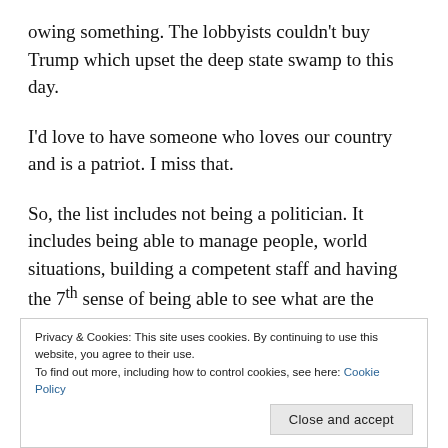owing something. The lobbyists couldn't buy Trump which upset the deep state swamp to this day.
I'd love to have someone who loves our country and is a patriot. I miss that.
So, the list includes not being a politician. It includes being able to manage people, world situations, building a competent staff and having the 7th sense of being able to see what are the affects of a decision or action 3 steps
Privacy & Cookies: This site uses cookies. By continuing to use this website, you agree to their use.
To find out more, including how to control cookies, see here: Cookie Policy
Close and accept